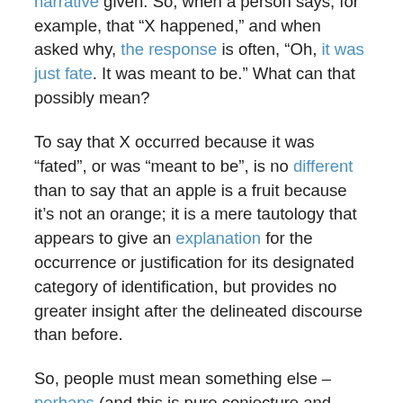justification without much thought put into the narrative given.  So, when a person says, for example, that “X happened,” and when asked why, the response is often, “Oh, it was just fate.  It was meant to be.”  What can that possibly mean?
To say that X occurred because it was “fated”, or was “meant to be”, is no different than to say that an apple is a fruit because it’s not an orange; it is a mere tautology that appears to give an explanation for the occurrence or justification for its designated category of identification, but provides no greater insight after the delineated discourse than before.
So, people must mean something else – perhaps (and this is pure conjecture and attempting to attribute kindness to an otherwise empty explanation) what is meant is that